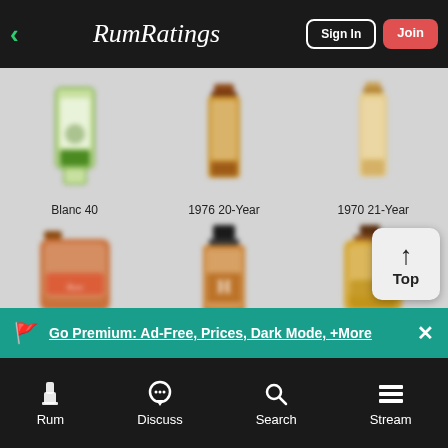RumRatings — Sign In | Join
[Figure (screenshot): Blurred rum bottle image — Blanc 40]
[Figure (screenshot): Blurred rum bottle image — 1976 20-Year]
[Figure (screenshot): Blurred rum bottle image — 1970 21-Year]
Blanc 40
1976 20-Year
1970 21-Year
[Figure (screenshot): Blurred rum bottle image — bottom left]
[Figure (screenshot): Blurred rum bottle image — bottom center (H label)]
[Figure (screenshot): Blurred rum bottle image — bottom right]
Go Premium: Ad-Free, Prices, Dark Mode, +More
Rum | Discuss | Search | Stream